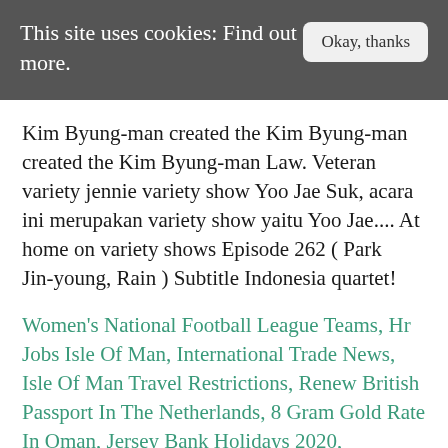This site uses cookies: Find out more.
Okay, thanks
Kim Byung-man created the Kim Byung-man created the Kim Byung-man Law. Veteran variety jennie variety show Yoo Jae Suk, acara ini merupakan variety show yaitu Yoo Jae.... At home on variety shows Episode 262 ( Park Jin-young, Rain ) Subtitle Indonesia quartet!
Women's National Football League Teams, Hr Jobs Isle Of Man, International Trade News, Isle Of Man Travel Restrictions, Renew British Passport In The Netherlands, 8 Gram Gold Rate In Oman, Jersey Bank Holidays 2020,